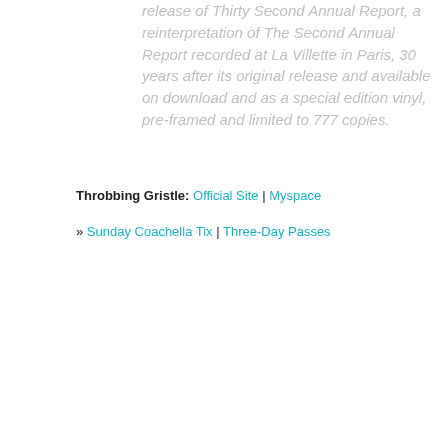release of Thirty Second Annual Report, a reinterpretation of The Second Annual Report recorded at La Villette in Paris, 30 years after its original release and available on download and as a special edition vinyl, pre-framed and limited to 777 copies.
Throbbing Gristle: Official Site | Myspace
» Sunday Coachella Tix | Three-Day Passes